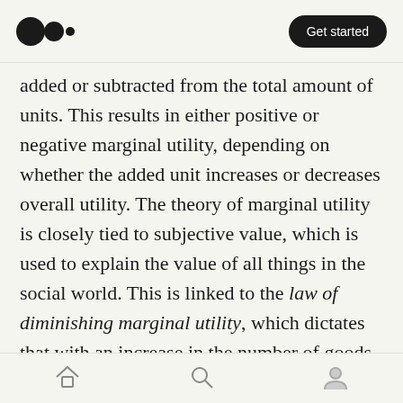Medium logo | Get started
added or subtracted from the total amount of units. This results in either positive or negative marginal utility, depending on whether the added unit increases or decreases overall utility. The theory of marginal utility is closely tied to subjective value, which is used to explain the value of all things in the social world. This is linked to the law of diminishing marginal utility, which dictates that with an increase in the number of goods, their subjective value diminishes in an individual's mind.
Time preference
Home | Search | Profile